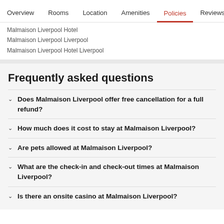Overview  Rooms  Location  Amenities  Policies  Reviews
Malmaison Liverpool Hotel
Malmaison Liverpool Liverpool
Malmaison Liverpool Hotel Liverpool
Frequently asked questions
Does Malmaison Liverpool offer free cancellation for a full refund?
How much does it cost to stay at Malmaison Liverpool?
Are pets allowed at Malmaison Liverpool?
What are the check-in and check-out times at Malmaison Liverpool?
Is there an onsite casino at Malmaison Liverpool?